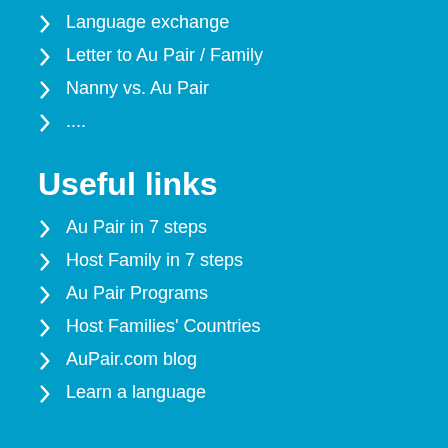Language exchange
Letter to Au Pair / Family
Nanny vs. Au Pair
....
Useful links
Au Pair in 7 steps
Host Family in 7 steps
Au Pair Programs
Host Families' Countries
AuPair.com blog
Learn a language